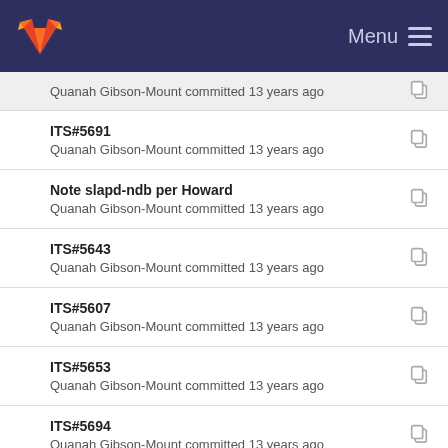Menu
Quanah Gibson-Mount committed 13 years ago
ITS#5691
Quanah Gibson-Mount committed 13 years ago
Note slapd-ndb per Howard
Quanah Gibson-Mount committed 13 years ago
ITS#5643
Quanah Gibson-Mount committed 13 years ago
ITS#5607
Quanah Gibson-Mount committed 13 years ago
ITS#5653
Quanah Gibson-Mount committed 13 years ago
ITS#5694
Quanah Gibson-Mount committed 13 years ago
ITS#5609
Quanah Gibson-Mount committed 13 years ago
ITS#5717